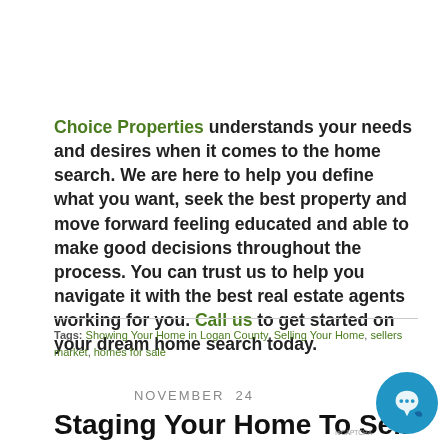Choice Properties understands your needs and desires when it comes to the home search. We are here to help you define what you want, seek the best property and move forward feeling educated and able to make good decisions throughout the process. You can trust us to help you navigate it with the best real estate agents working for you. Call us to get started on your dream home search today.
Tags: Showing Your Home in Logan County, Selling Your Home, sellers market, homes for sale
NOVEMBER  24
Staging Your Home To Sell With The Buyer In Mind